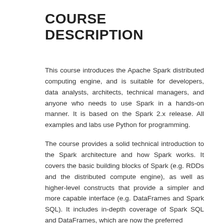COURSE DESCRIPTION
This course introduces the Apache Spark distributed computing engine, and is suitable for developers, data analysts, architects, technical managers, and anyone who needs to use Spark in a hands-on manner. It is based on the Spark 2.x release. All examples and labs use Python for programming.
The course provides a solid technical introduction to the Spark architecture and how Spark works. It covers the basic building blocks of Spark (e.g. RDDs and the distributed compute engine), as well as higher-level constructs that provide a simpler and more capable interface (e.g. DataFrames and Spark SQL). It includes in-depth coverage of Spark SQL and DataFrames, which are now the preferred